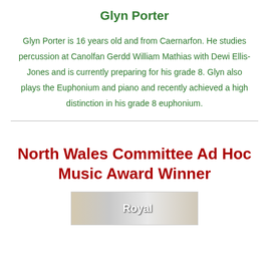Glyn Porter
Glyn Porter is 16 years old and from Caernarfon. He studies percussion at Canolfan Gerdd William Mathias with Dewi Ellis-Jones and is currently preparing for his grade 8. Glyn also plays the Euphonium and piano and recently achieved a high distinction in his grade 8 euphonium.
North Wales Committee Ad Hoc Music Award Winner
[Figure (photo): Photo showing a sign with the word 'Royal' visible, partially cropped]